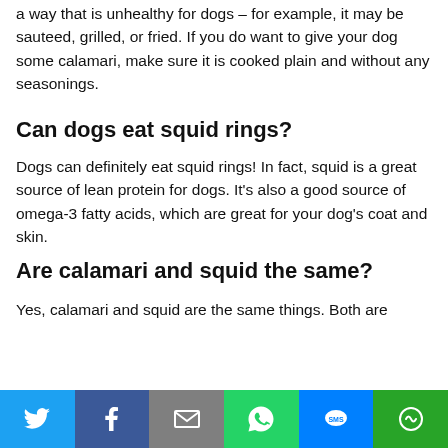a way that is unhealthy for dogs – for example, it may be sauteed, grilled, or fried. If you do want to give your dog some calamari, make sure it is cooked plain and without any seasonings.
Can dogs eat squid rings?
Dogs can definitely eat squid rings! In fact, squid is a great source of lean protein for dogs. It's also a good source of omega-3 fatty acids, which are great for your dog's coat and skin.
Are calamari and squid the same?
Yes, calamari and squid are the same things. Both are